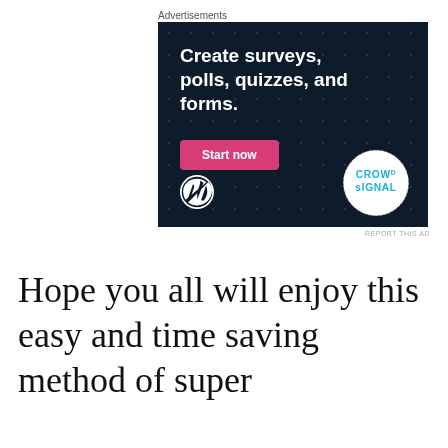Advertisements
[Figure (illustration): Advertisement banner for Crowdsignal/WordPress: dark navy background with dot pattern, headline 'Create surveys, polls, quizzes, and forms.', a pink 'Start now' button, WordPress logo bottom-left, Crowdsignal badge bottom-right.]
REPORT THIS AD
Hope you all will enjoy this easy and time saving method of super